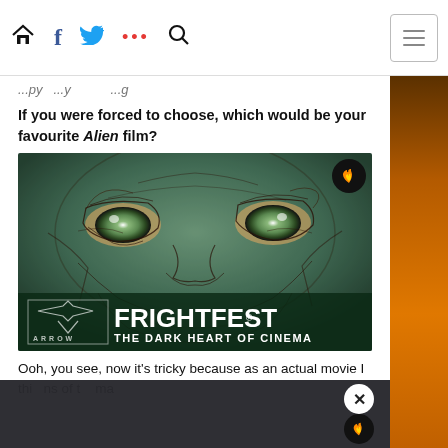Navigation bar with home, facebook, twitter, dots, search icons and hamburger menu
...py ...y ...g ...
If you were forced to choose, which would be your favourite Alien film?
[Figure (photo): FrightFest Arrow Video promotional image showing a close-up illustrated monster face with green eyes. Logo reads: ARROW FRIGHTFEST® THE DARK HEART OF CINEMA]
Ooh, you see, now it's tricky because as an actual movie I thi... ...ns of t... ma...